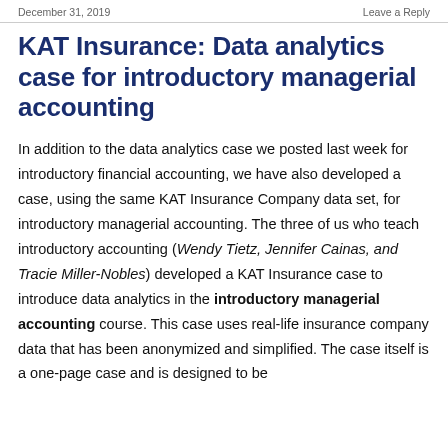December 31, 2019    Leave a Reply
KAT Insurance: Data analytics case for introductory managerial accounting
In addition to the data analytics case we posted last week for introductory financial accounting, we have also developed a case, using the same KAT Insurance Company data set, for introductory managerial accounting. The three of us who teach introductory accounting (Wendy Tietz, Jennifer Cainas, and Tracie Miller-Nobles) developed a KAT Insurance case to introduce data analytics in the introductory managerial accounting course. This case uses real-life insurance company data that has been anonymized and simplified. The case itself is a one-page case and is designed to be